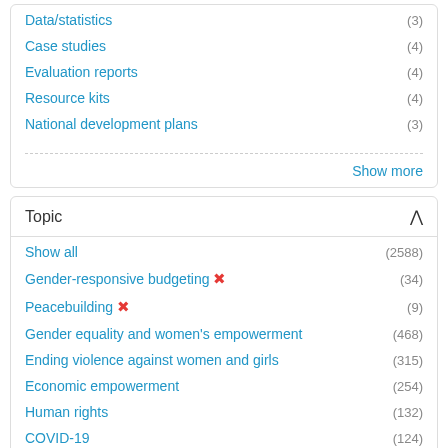Data/statistics (3)
Case studies (4)
Evaluation reports (4)
Resource kits (4)
National development plans (3)
Show more
Topic
Show all (2588)
Gender-responsive budgeting ✕ (34)
Peacebuilding ✕ (9)
Gender equality and women's empowerment (468)
Ending violence against women and girls (315)
Economic empowerment (254)
Human rights (132)
COVID-19 (124)
Peace and security (117)